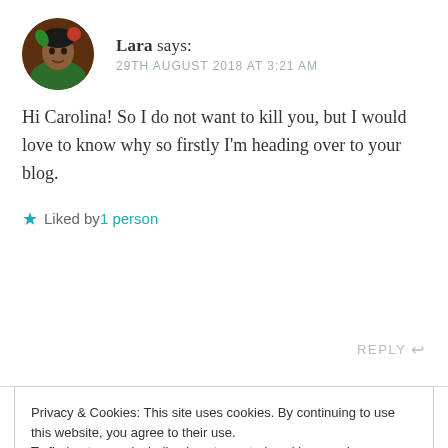[Figure (illustration): Circular avatar photo of a person (Lara) with a red flower/heart decoration, illustrated style with brown and green tones]
Lara says:
29TH AUGUST 2018 AT 3:21 AM
Hi Carolina! So I do not want to kill you, but I would love to know why so firstly I'm heading over to your blog.
★ Liked by 1 person
REPLY ↩
Privacy & Cookies: This site uses cookies. By continuing to use this website, you agree to their use.
To find out more, including how to control cookies, see here: Cookie Policy
Close and accept